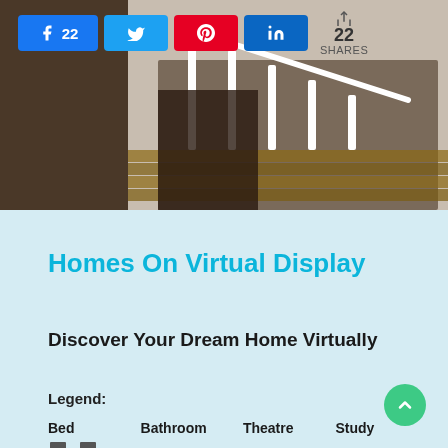[Figure (photo): Screenshot of a webpage showing a staircase interior photo with social share buttons (Facebook 22, Twitter, Pinterest, LinkedIn) and a share count of 22, over a dark brown background.]
Homes On Virtual Display
Discover Your Dream Home Virtually
Legend:
Bed    Bathroom    Theatre    Study